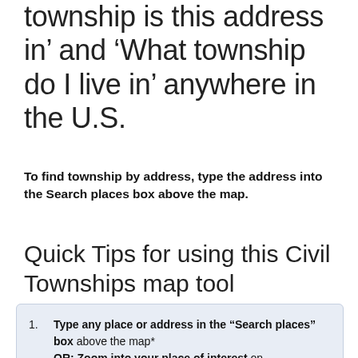township is this address in' and 'What township do I live in' anywhere in the U.S.
To find township by address, type the address into the Search places box above the map.
Quick Tips for using this Civil Townships map tool
Type any place or address in the "Search places" box above the map* OR: Zoom into your place of interest on the map Township boundary lines will draw on the